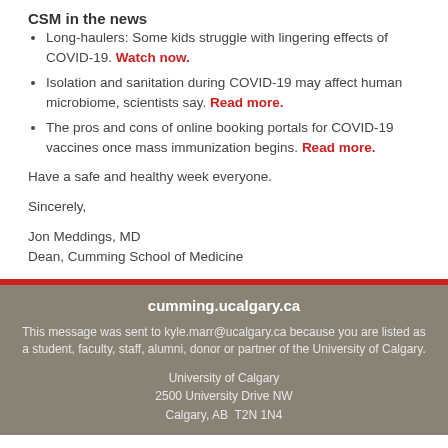CSM in the news
Long-haulers: Some kids struggle with lingering effects of COVID-19. Watch now.
Isolation and sanitation during COVID-19 may affect human microbiome, scientists say. Read more.
The pros and cons of online booking portals for COVID-19 vaccines once mass immunization begins. Read more.
Have a safe and healthy week everyone.
Sincerely,
Jon Meddings, MD
Dean, Cumming School of Medicine
cumming.ucalgary.ca
This message was sent to kyle.marr@ucalgary.ca because you are listed as a student, faculty, staff, alumni, donor or partner of the University of Calgary.
University of Calgary
2500 University Drive NW
Calgary, AB  T2N 1N4